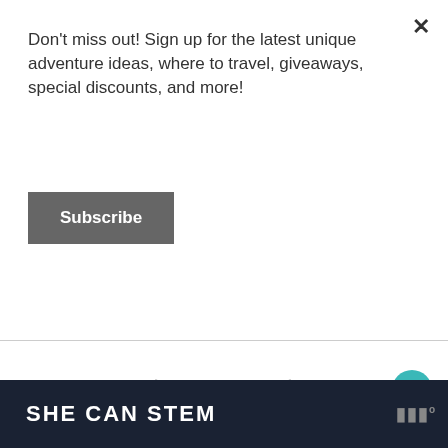Don't miss out! Sign up for the latest unique adventure ideas, where to travel, giveaways, special discounts, and more!
Subscribe
[FOOTER_BACKTOTOP]
COPYRIGHT © 2022 · PROUDLY HOSTED BY MOM WEBS HOSTING · N
EXCLUSIVE MEMBER OF MEDIAVINE TRAVEL
[Figure (screenshot): Floating heart icon button (teal circle with white heart), share icon button, and What's Next navigation panel showing 'A Christmas Carol at...']
[Figure (screenshot): Bottom ad banner: dark navy background with 'SHE CAN STEM' text in bold white, and a logo on the right]